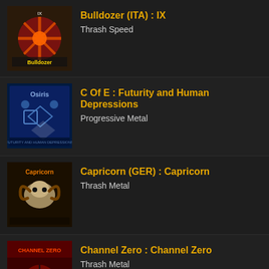Bulldozer (ITA) : IX | Thrash Speed
C Of E : Futurity and Human Depressions | Progressive Metal
Capricorn (GER) : Capricorn | Thrash Metal
Channel Zero : Channel Zero | Thrash Metal